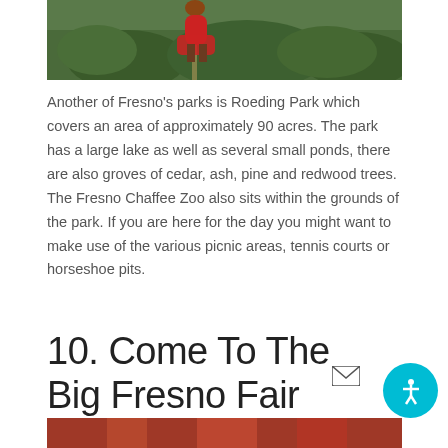[Figure (photo): Top portion of a photo showing a person in a red costume walking on a garden path, surrounded by green shrubs and foliage at Roeding Park or similar park setting]
Another of Fresno's parks is Roeding Park which covers an area of approximately 90 acres. The park has a large lake as well as several small ponds, there are also groves of cedar, ash, pine and redwood trees. The Fresno Chaffee Zoo also sits within the grounds of the park. If you are here for the day you might want to make use of the various picnic areas, tennis courts or horseshoe pits.
10. Come To The Big Fresno Fair
[Figure (photo): Bottom portion of a photo, partially visible, showing a colorful scene from the Big Fresno Fair]